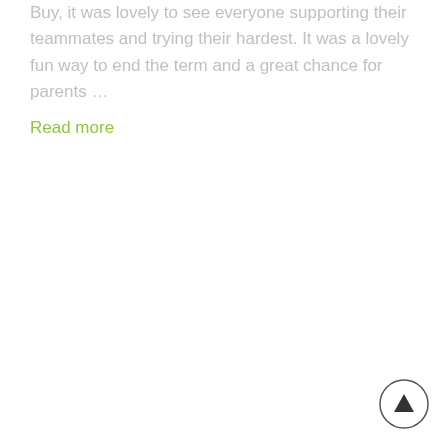Buy, it was lovely to see everyone supporting their teammates and trying their hardest. It was a lovely fun way to end the term and a great chance for parents …
Read more
[Figure (other): Scroll-to-top button: a circle with an upward-pointing triangle/arrow inside, positioned bottom-right corner]